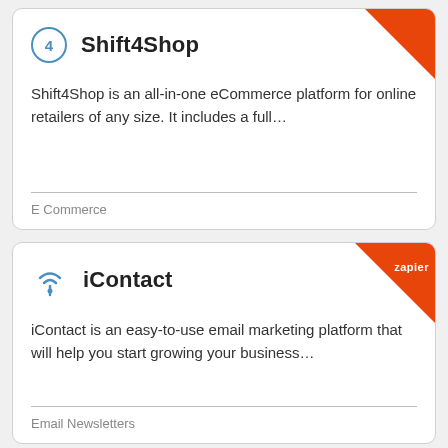4 Shift4Shop
Shift4Shop is an all-in-one eCommerce platform for online retailers of any size. It includes a full…
E Commerce
iContact
iContact is an easy-to-use email marketing platform that will help you start growing your business…
Email Newsletters